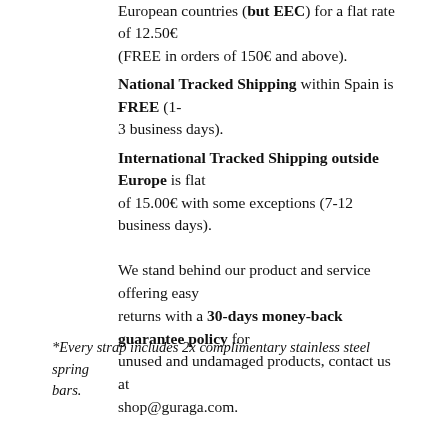European countries (but EEC) for a flat rate of 12.50€ (FREE in orders of 150€ and above).
National Tracked Shipping within Spain is FREE (1-3 business days).
International Tracked Shipping outside Europe is flat of 15.00€ with some exceptions (7-12 business days).
We stand behind our product and service offering easy returns with a 30-days money-back guarantee policy for unused and undamaged products, contact us at shop@guraga.com.
*Every strap includes 2x complimentary stainless steel spring bars.